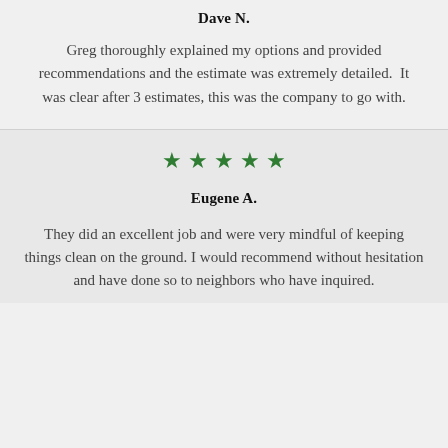Dave N.
Greg thoroughly explained my options and provided recommendations and the estimate was extremely detailed.  It was clear after 3 estimates, this was the company to go with.
[Figure (other): Five green stars rating]
Eugene A.
They did an excellent job and were very mindful of keeping things clean on the ground. I would recommend without hesitation and have done so to neighbors who have inquired.